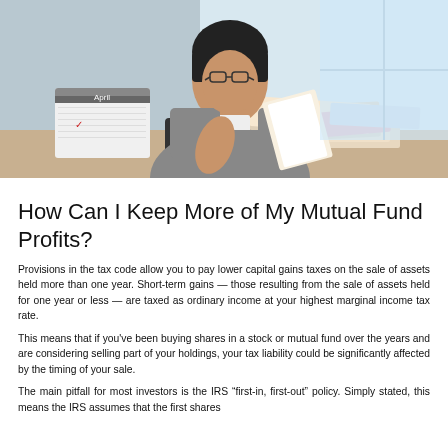[Figure (photo): A professional woman in a gray blazer and glasses sitting at a desk, working with papers and a calculator. A calendar showing April is visible in the foreground.]
How Can I Keep More of My Mutual Fund Profits?
Provisions in the tax code allow you to pay lower capital gains taxes on the sale of assets held more than one year. Short-term gains — those resulting from the sale of assets held for one year or less — are taxed as ordinary income at your highest marginal income tax rate.
This means that if you've been buying shares in a stock or mutual fund over the years and are considering selling part of your holdings, your tax liability could be significantly affected by the timing of your sale.
The main pitfall for most investors is the IRS “first-in, first-out” policy. Simply stated, this means the IRS assumes that the first shares...